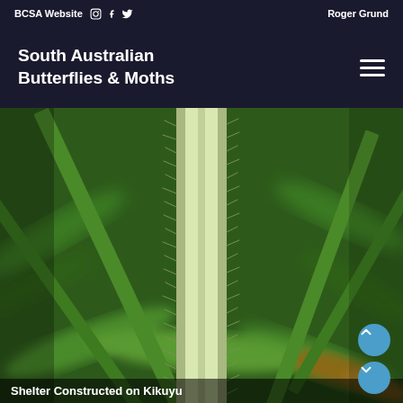BCSA Website  [instagram] [facebook] [twitter]  Roger Grund
South Australian Butterflies & Moths
[Figure (photo): Close-up macro photograph of a grass blade or plant stem (likely Kikuyu grass) showing fine serrations/hairs along its edges, with a blurred green background]
Shelter Constructed on Kikuyu